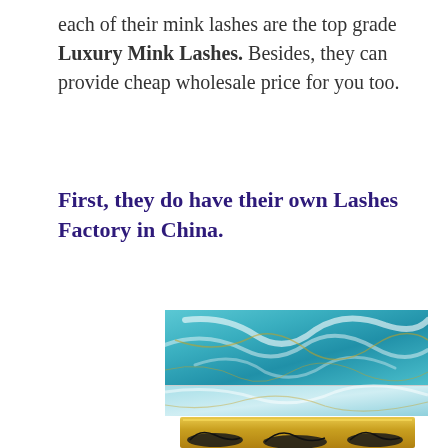each of their mink lashes are the top grade Luxury Mink Lashes. Besides, they can provide cheap wholesale price for you too.
First, they do have their own Lashes Factory in China.
[Figure (photo): A turquoise and gold marbled luxury eyelash packaging box, showing swirling teal and white marble pattern on top and gold glitter tray with false lashes visible at the bottom.]